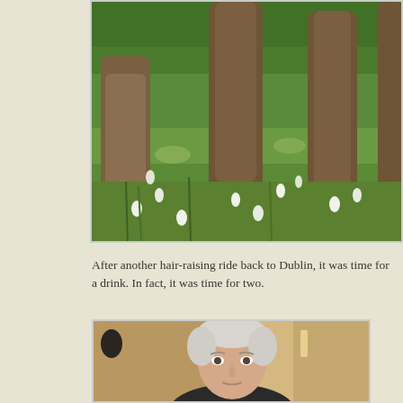[Figure (photo): A forest floor scene with several large tree trunks, green moss, grass, and white flowers (daffodils/narcissus) scattered across the ground. Lush green vegetation fills the background.]
After another hair-raising ride back to Dublin, it was time for a drink. In fact, it was time for two.
[Figure (photo): Portrait of an elderly man with white/grey hair, looking directly at the camera. The background shows an interior with mirrors and warm lighting.]